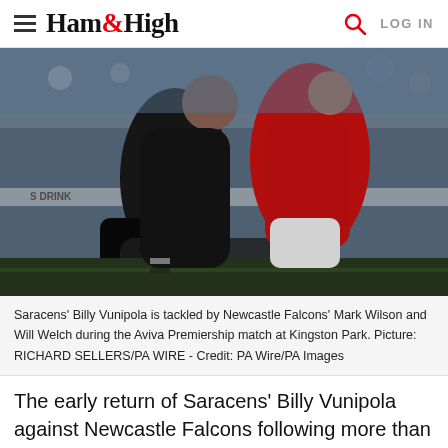Ham&High
[Figure (photo): Rugby tackle action shot: Saracens player in red jersey being tackled by Newcastle Falcons players in black during an Aviva Premiership match at Kingston Park. Multiple players engaged in a physical tackle on a grass pitch with crowd in background.]
Saracens' Billy Vunipola is tackled by Newcastle Falcons' Mark Wilson and Will Welch during the Aviva Premiership match at Kingston Park. Picture: RICHARD SELLERS/PA WIRE - Credit: PA Wire/PA Images
The early return of Saracens' Billy Vunipola against Newcastle Falcons following more than three months